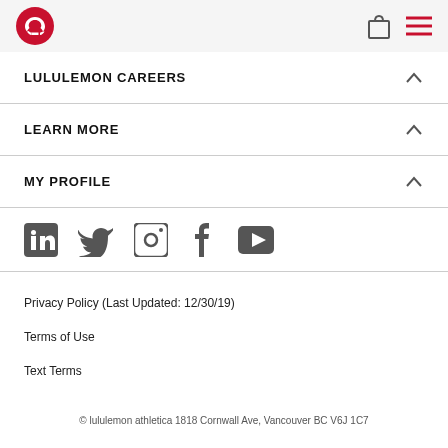lululemon logo, shopping bag icon, menu icon
LULULEMON CAREERS
LEARN MORE
MY PROFILE
[Figure (illustration): Social media icons row: LinkedIn, Twitter, Instagram, Facebook, YouTube]
Privacy Policy (Last Updated: 12/30/19)
Terms of Use
Text Terms
© lululemon athletica 1818 Cornwall Ave, Vancouver BC V6J 1C7